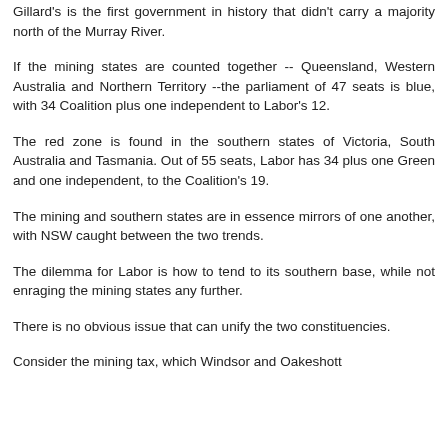Gillard's is the first government in history that didn't carry a majority north of the Murray River.
If the mining states are counted together -- Queensland, Western Australia and Northern Territory --the parliament of 47 seats is blue, with 34 Coalition plus one independent to Labor's 12.
The red zone is found in the southern states of Victoria, South Australia and Tasmania. Out of 55 seats, Labor has 34 plus one Green and one independent, to the Coalition's 19.
The mining and southern states are in essence mirrors of one another, with NSW caught between the two trends.
The dilemma for Labor is how to tend to its southern base, while not enraging the mining states any further.
There is no obvious issue that can unify the two constituencies.
Consider the mining tax, which Windsor and Oakeshott